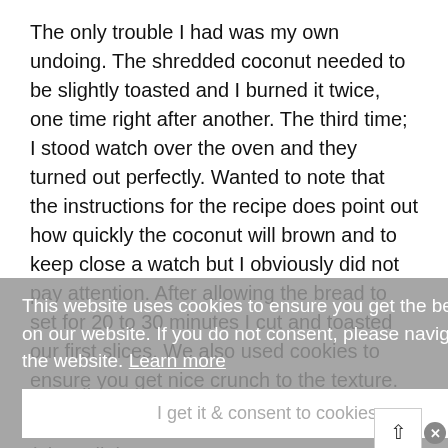The only trouble I had was my own undoing. The shredded coconut needed to be slightly toasted and I burned it twice, one time right after another. The third time; I stood watch over the oven and they turned out perfectly. Wanted to note that the instructions for the recipe does point out how quickly the coconut will brown and to keep close a watch but I obviously did not pay attention. After allowing the bread to set for 20 to 30 minutes I cut and toasted our first slices. We also used cookies to ensure you get nice crunch to the texture. Good cold or warm any time of the day.
This website uses cookies to ensure you get the best experience on our website. If you do not consent, please navigate away from the website. Learn more
I get it & consent to cookies
Ingredients:
For loaf:
1/4 cup extra-virgin coconut oil, melted (plus a little more